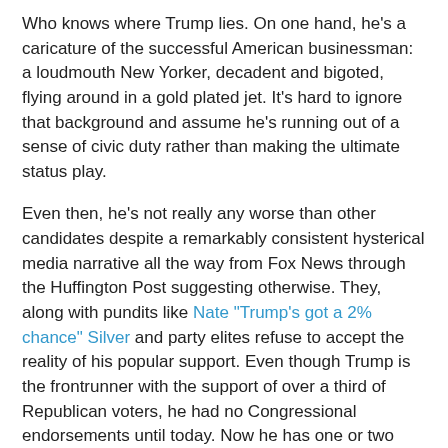Who knows where Trump lies. On one hand, he's a caricature of the successful American businessman: a loudmouth New Yorker, decadent and bigoted, flying around in a gold plated jet. It's hard to ignore that background and assume he's running out of a sense of civic duty rather than making the ultimate status play.
Even then, he's not really any worse than other candidates despite a remarkably consistent hysterical media narrative all the way from Fox News through the Huffington Post suggesting otherwise. They, along with pundits like Nate "Trump's got a 2% chance" Silver and party elites refuse to accept the reality of his popular support. Even though Trump is the frontrunner with the support of over a third of Republican voters, he had no Congressional endorsements until today. Now he has one or two compared to around fifty for Marco Rubio. The situation is even worse on the Democrat side with Hillary garnering around 99% Congressional support - a number that would make even North Korean election officials wince - despite being about even with Sanders in national polling.